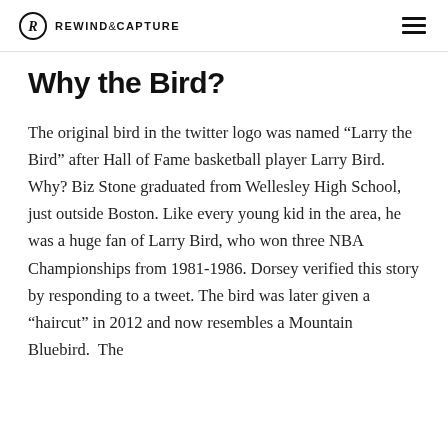REWIND&CAPTURE
Why the Bird?
The original bird in the twitter logo was named “Larry the Bird” after Hall of Fame basketball player Larry Bird. Why? Biz Stone graduated from Wellesley High School, just outside Boston. Like every young kid in the area, he was a huge fan of Larry Bird, who won three NBA Championships from 1981-1986. Dorsey verified this story by responding to a tweet. The bird was later given a “haircut” in 2012 and now resembles a Mountain Bluebird.  The